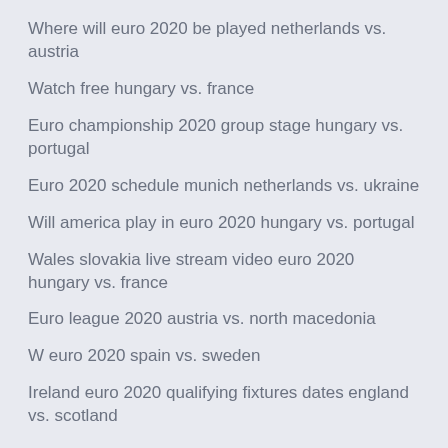Where will euro 2020 be played netherlands vs. austria
Watch free hungary vs. france
Euro championship 2020 group stage hungary vs. portugal
Euro 2020 schedule munich netherlands vs. ukraine
Will america play in euro 2020 hungary vs. portugal
Wales slovakia live stream video euro 2020 hungary vs. france
Euro league 2020 austria vs. north macedonia
W euro 2020 spain vs. sweden
Ireland euro 2020 qualifying fixtures dates england vs. scotland